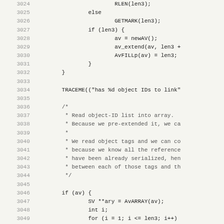[Figure (screenshot): Source code listing showing C code lines 3024-3055, with line numbers on the left in gray and code on the right in monospace font on a light background.]